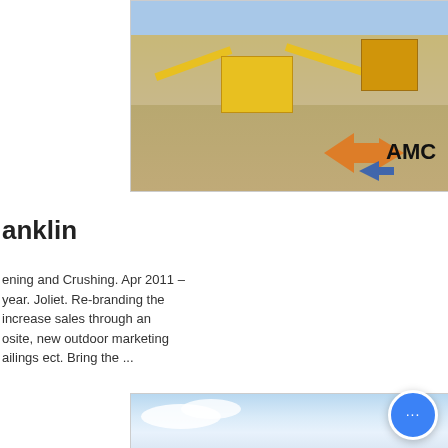[Figure (photo): Aerial view of yellow mining screening and crushing equipment arranged in a field with the AMC logo visible in the lower right corner of the image.]
anklin
ening and Crushing. Apr 2011 – year. Joliet. Re-branding the increase sales through an osite, new outdoor marketing ailings ect. Bring the ...
[Figure (photo): Partial view of a cloudy sky photograph at the bottom of the page.]